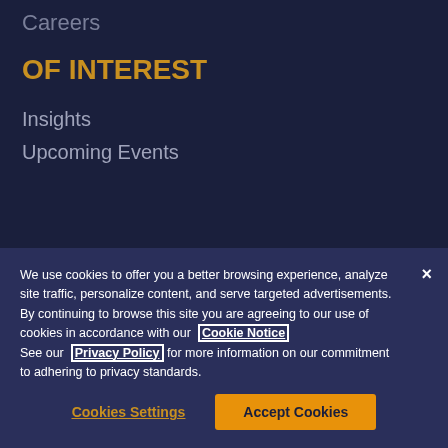Careers
OF INTEREST
Insights
Upcoming Events
We use cookies to offer you a better browsing experience, analyze site traffic, personalize content, and serve targeted advertisements. By continuing to browse this site you are agreeing to our use of cookies in accordance with our Cookie Notice. See our Privacy Policy for more information on our commitment to adhering to privacy standards.
Cookies Settings
Accept Cookies